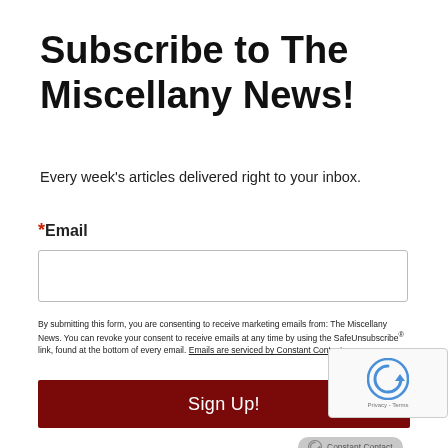Subscribe to The Miscellany News!
Every week's articles delivered right to your inbox.
* Email
By submitting this form, you are consenting to receive marketing emails from: The Miscellany News. You can revoke your consent to receive emails at any time by using the SafeUnsubscribe® link, found at the bottom of every email. Emails are serviced by Constant Contact.
Sign Up!
[Figure (logo): Constant Contact badge logo]
[Figure (other): reCAPTCHA privacy widget showing circular arrow icon with Privacy - Terms text]